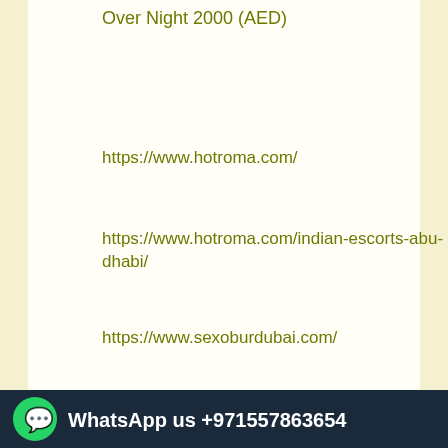Over Night 2000 (AED)
https://www.hotroma.com/
https://www.hotroma.com/indian-escorts-abu-dhabi/
https://www.sexoburdubai.com/
https://www.sexoburdubai.com/abu-dhabi-auh-escorts-service/
https://www.suruti.com/
https://www.suruti.com/indian-escorts-abu-
[Figure (infographic): Red call banner with phone icon, 'Call Now!' text and phone number +971557863654]
[Figure (infographic): Dark navy WhatsApp bar with WhatsApp icon and text 'WhatsApp us +971557863654']